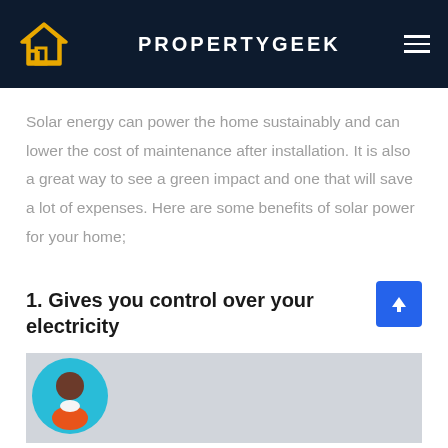PROPERTYGEEK
Solar energy can power the home sustainably and can lower the cost of maintenance after installation. It is also a great way to see a green impact and one that will save a lot of expenses. Here are some benefits of solar power for your home;
1. Gives you control over your electricity
[Figure (illustration): Avatar illustration of a person on a light gray image background]